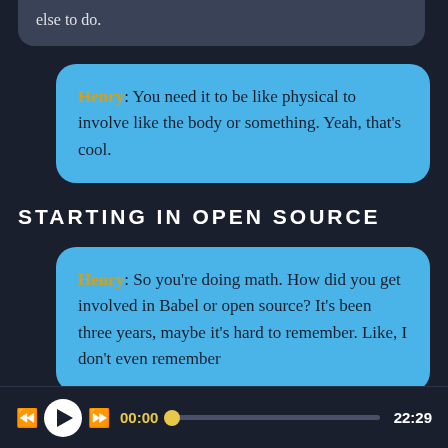the computer all day, you need something else to do.
Henry: You need it to be like physical to involve like the body or something. Yeah, that's cool.
STARTING IN OPEN SOURCE
Henry: So you're doing math. How did you get involved in Babel or open source? It's been three years, maybe it's hard to remember. Like, I don't even remember
00:00  22:29